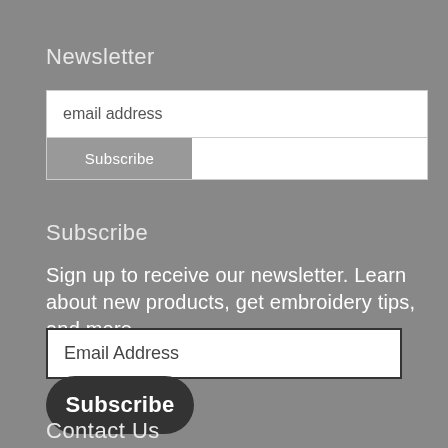Newsletter
email address
Subscribe
Subscribe
Sign up to receive our newsletter. Learn about new products, get embroidery tips, and more.
Email Address
Subscribe
Contact Us